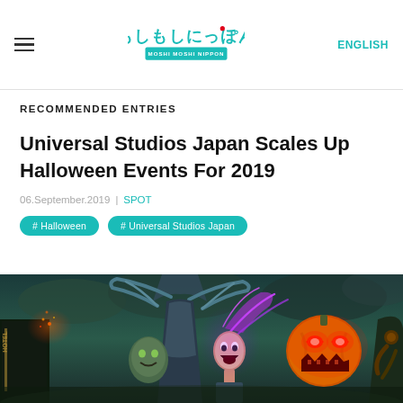MOSHI MOSHI NIPPON | ENGLISH
RECOMMENDED ENTRIES
Universal Studios Japan Scales Up Halloween Events For 2019
06.September.2019 | SPOT
# Halloween
# Universal Studios Japan
[Figure (photo): Halloween horror event promotional artwork for Universal Studios Japan 2019, featuring frightening monster characters including a pumpkin-headed creature and other horror figures against a dark stormy sky backdrop]